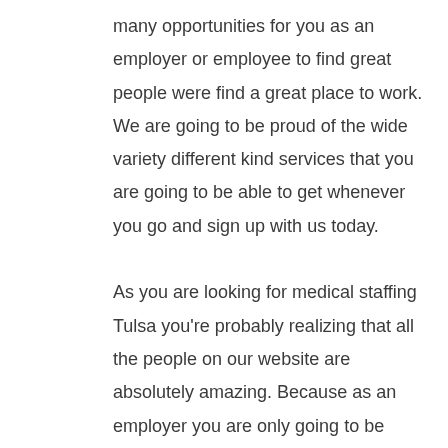many opportunities for you as an employer or employee to find great people were find a great place to work. We are going to be proud of the wide variety different kind services that you are going to be able to get whenever you go and sign up with us today.

As you are looking for medical staffing Tulsa you're probably realizing that all the people on our website are absolutely amazing. Because as an employer you are only going to be wanting to hire out great people. And we have already vetted them so that way there are only top performers here in our